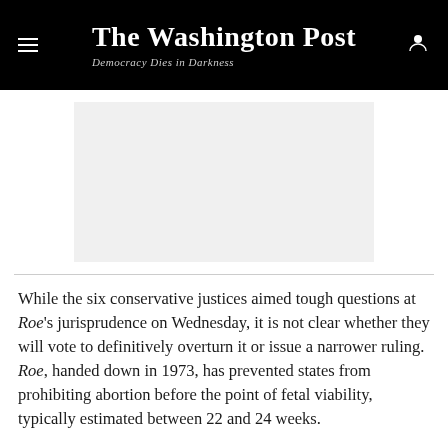The Washington Post
Democracy Dies in Darkness
[Figure (other): Advertisement placeholder — light gray rectangle]
While the six conservative justices aimed tough questions at Roe's jurisprudence on Wednesday, it is not clear whether they will vote to definitively overturn it or issue a narrower ruling. Roe, handed down in 1973, has prevented states from prohibiting abortion before the point of fetal viability, typically estimated between 22 and 24 weeks.